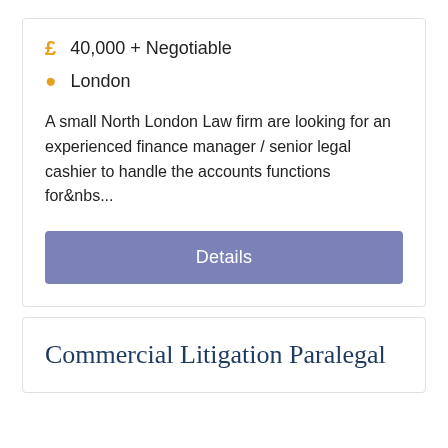£  40,000 + Negotiable
London
A small North London Law firm are looking for an experienced finance manager / senior legal cashier to handle the accounts functions for&nbs...
Details
Commercial Litigation Paralegal